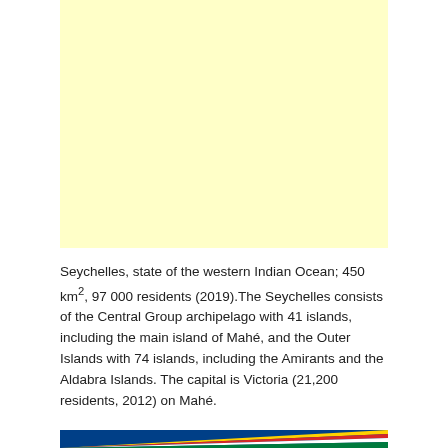[Figure (map): Light yellow map area representing Seychelles region]
Seychelles, state of the western Indian Ocean; 450 km², 97 000 residents (2019).The Seychelles consists of the Central Group archipelago with 41 islands, including the main island of Mahé, and the Outer Islands with 74 islands, including the Amirants and the Aldabra Islands. The capital is Victoria (21,200 residents, 2012) on Mahé.
[Figure (illustration): Seychelles flag strip showing blue, yellow, red, white, green diagonal stripes]